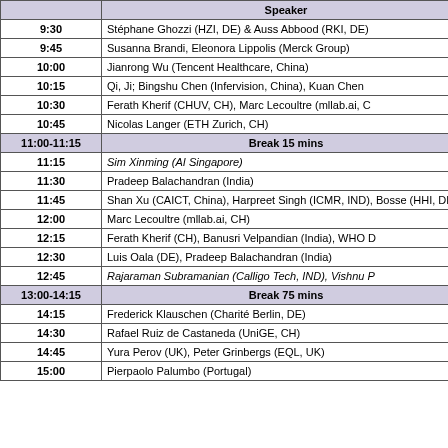| Time | Speaker |
| --- | --- |
| 9:30 | Stéphane Ghozzi (HZI, DE) & Auss Abbood (RKI, DE) |
| 9:45 | Susanna Brandi, Eleonora Lippolis (Merck Group) |
| 10:00 | Jianrong Wu (Tencent Healthcare, China) |
| 10:15 | Qi, Ji; Bingshu Chen (Infervision, China), Kuan Chen |
| 10:30 | Ferath Kherif (CHUV, CH), Marc Lecoultre (mllab.ai, C… |
| 10:45 | Nicolas Langer (ETH Zurich, CH) |
| 11:00-11:15 | Break 15 mins |
| 11:15 | Sim Xinming (AI Singapore) |
| 11:30 | Pradeep Balachandran (India) |
| 11:45 | Shan Xu (CAICT, China), Harpreet Singh (ICMR, IND), Bosse (HHI, DE) |
| 12:00 | Marc Lecoultre (mllab.ai, CH) |
| 12:15 | Ferath Kherif (CH), Banusri Velpandian (India), WHO D… |
| 12:30 | Luis Oala (DE), Pradeep Balachandran (India) |
| 12:45 | Rajaraman Subramanian (Calligo Tech, IND), Vishnu P… |
| 13:00-14:15 | Break 75 mins |
| 14:15 | Frederick Klauschen (Charité Berlin, DE) |
| 14:30 | Rafael Ruiz de Castaneda (UniGE, CH) |
| 14:45 | Yura Perov (UK), Peter Grinbergs (EQL, UK) |
| 15:00 | Pierpaolo Palumbo (Portugal) |